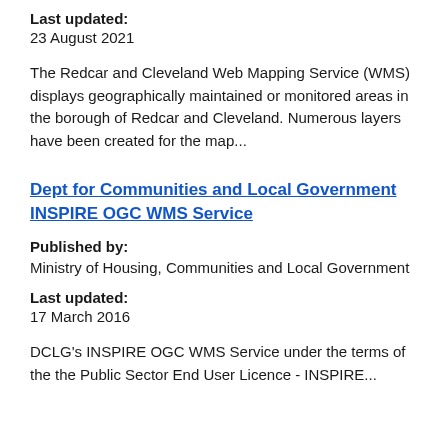Last updated:
23 August 2021
The Redcar and Cleveland Web Mapping Service (WMS) displays geographically maintained or monitored areas in the borough of Redcar and Cleveland. Numerous layers have been created for the map...
Dept for Communities and Local Government INSPIRE OGC WMS Service
Published by:
Ministry of Housing, Communities and Local Government
Last updated:
17 March 2016
DCLG's INSPIRE OGC WMS Service under the terms of the the Public Sector End User Licence - INSPIRE...